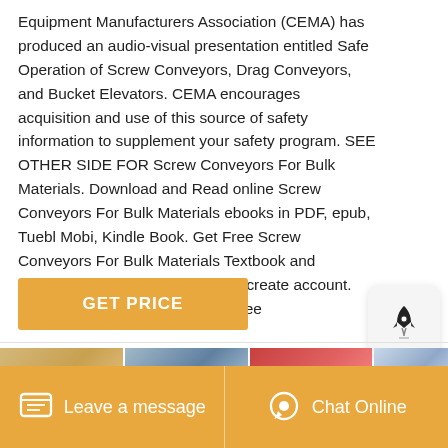Equipment Manufacturers Association (CEMA) has produced an audio-visual presentation entitled Safe Operation of Screw Conveyors, Drag Conveyors, and Bucket Elevators. CEMA encourages acquisition and use of this source of safety information to supplement your safety program. SEE OTHER SIDE FOR Screw Conveyors For Bulk Materials. Download and Read online Screw Conveyors For Bulk Materials ebooks in PDF, epub, Tuebl Mobi, Kindle Book. Get Free Screw Conveyors For Bulk Materials Textbook and unlimited access to our library by create account. Fast Download speed and ads Free
[Figure (other): Rocket icon widget in a rounded grey box]
[Figure (other): Orange GET PRICE button]
[Figure (photo): Strip of four partial thumbnail images at bottom of page]
Leave a message   Chat Online